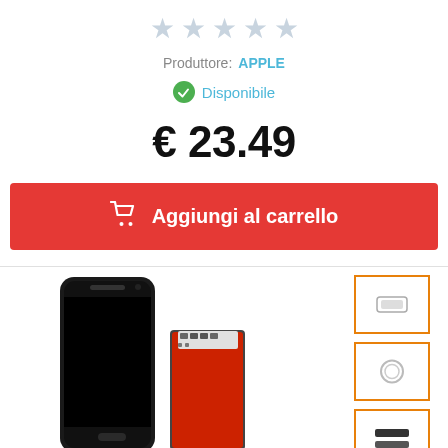[Figure (other): Five empty star rating icons in light gray]
Produttore: APPLE
Disponibile
€ 23.49
Aggiungi al carrello
[Figure (photo): iPhone screen/LCD assembly replacement parts — main phone with black screen, red-backed display panel, and three small component thumbnails on the right side (home button ring, circular ring component, and tape/foam strips)]